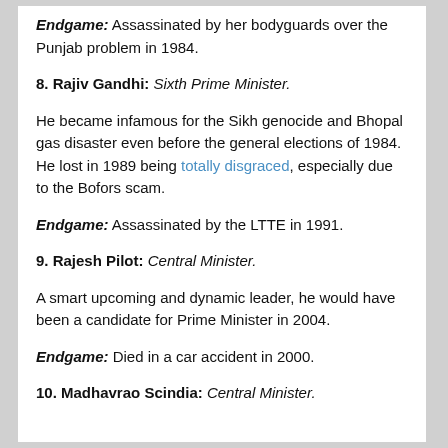Endgame: Assassinated by her bodyguards over the Punjab problem in 1984.
8. Rajiv Gandhi: Sixth Prime Minister.
He became infamous for the Sikh genocide and Bhopal gas disaster even before the general elections of 1984. He lost in 1989 being totally disgraced, especially due to the Bofors scam.
Endgame: Assassinated by the LTTE in 1991.
9. Rajesh Pilot: Central Minister.
A smart upcoming and dynamic leader, he would have been a candidate for Prime Minister in 2004.
Endgame: Died in a car accident in 2000.
10. Madhavrao Scindia: Central Minister.